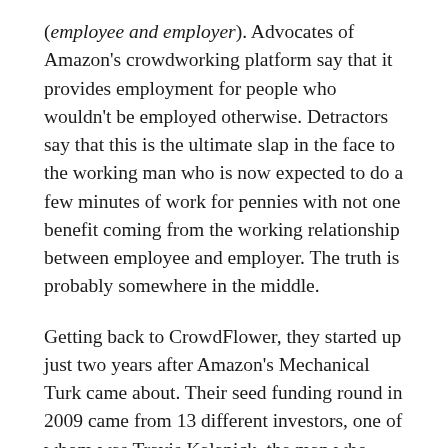(employee and employer). Advocates of Amazon's crowdworking platform say that it provides employment for people who wouldn't be employed otherwise. Detractors say that this is the ultimate slap in the face to the working man who is now expected to do a few minutes of work for pennies with not one benefit coming from the working relationship between employee and employer. The truth is probably somewhere in the middle.
Getting back to CrowdFlower, they started up just two years after Amazon's Mechanical Turk came about. Their seed funding round in 2009 came from 13 different investors, one of whom was Travis Kalanick, the man who created the biggest startup in Silicon Valley, ever, Uber. The next interesting event to take place was in September of 2014 when Canvas Ventures led a Series C round and the following month, there were said to be massive layoffs of up to 5 rounds (unverified Glassdoor reviews) over the